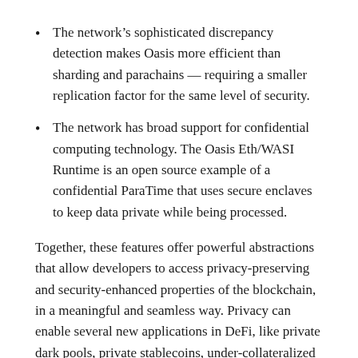The network's sophisticated discrepancy detection makes Oasis more efficient than sharding and parachains — requiring a smaller replication factor for the same level of security.
The network has broad support for confidential computing technology. The Oasis Eth/WASI Runtime is an open source example of a confidential ParaTime that uses secure enclaves to keep data private while being processed.
Together, these features offer powerful abstractions that allow developers to access privacy-preserving and security-enhanced properties of the blockchain, in a meaningful and seamless way. Privacy can enable several new applications in DeFi, like private dark pools, private stablecoins, under-collateralized loans,